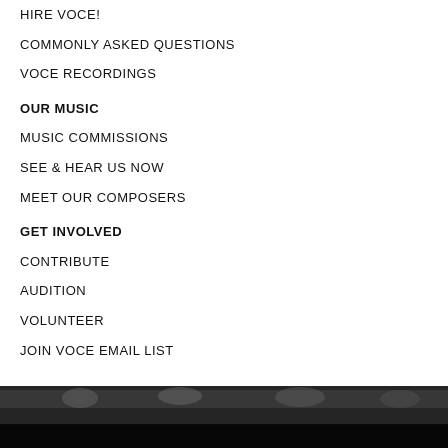HIRE VOCE!
COMMONLY ASKED QUESTIONS
VOCE RECORDINGS
OUR MUSIC
MUSIC COMMISSIONS
SEE & HEAR US NOW
MEET OUR COMPOSERS
GET INVOLVED
CONTRIBUTE
AUDITION
VOLUNTEER
JOIN VOCE EMAIL LIST
[Figure (photo): Black and white photo of a choir or crowd, partially visible at the bottom of the page]